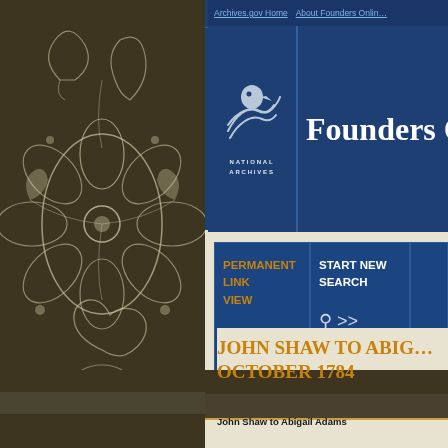[Figure (illustration): Left decorative floral/paisley panel with dark brown background and white botanical motif patterns]
Archives.gov Home   About Founders Online
Founders Online
[Figure (logo): National Archives eagle logo with stylized wave/shell design, text NATIONAL ARCHIVES below]
PERMANENT LINK VIEW
START NEW SEARCH
John Shaw to Abigail Adams, October 1784
John Shaw to Abigail Adams